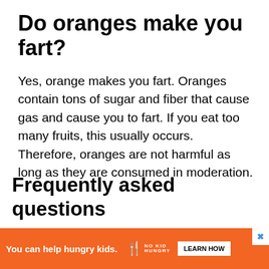Do oranges make you fart?
Yes, orange makes you fart. Oranges contain tons of sugar and fiber that cause gas and cause you to fart. If you eat too many fruits, this usually occurs. Therefore, oranges are not harmful as long as they are consumed in moderation.
Frequently asked questions
Here are a few frequently asked questions about oranges and gas. These are...same
[Figure (other): Advertisement banner: orange background with 'You can help hungry kids.' text, No Kid Hungry logo with fork icon, and a 'LEARN HOW' button. Blue X close button in upper right.]